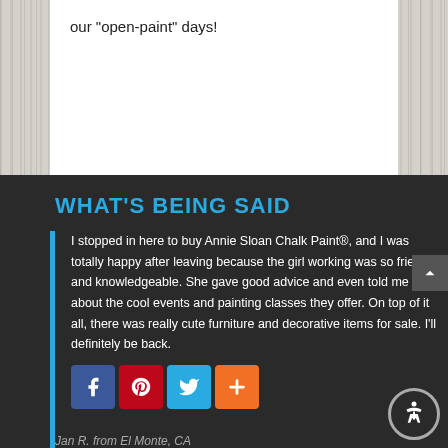our "open-paint" days!
WHAT'S BEING SAID
I stopped in here to buy Annie Sloan Chalk Paint®, and I was totally happy after leaving because the girl working was so friendly and knowledgeable. She gave good advice and even told me about the cool events and painting classes they offer. On top of it all, there was really cute furniture and decorative items for sale. I'll definitely be back.
Jan R. from El Monte, CA